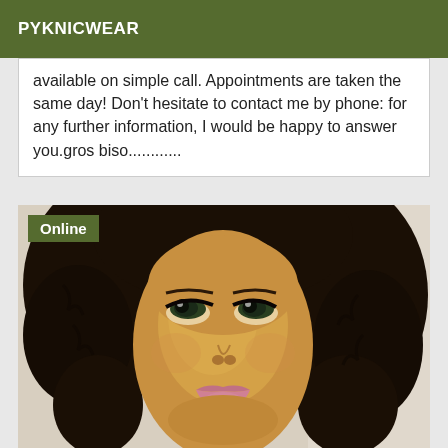PYKNICWEAR
available on simple call. Appointments are taken the same day! Don't hesitate to contact me by phone: for any further information, I would be happy to answer you.gros biso............
[Figure (photo): Close-up photo of a woman with dark curly hair looking upward, with an 'Online' badge in the top-left corner]